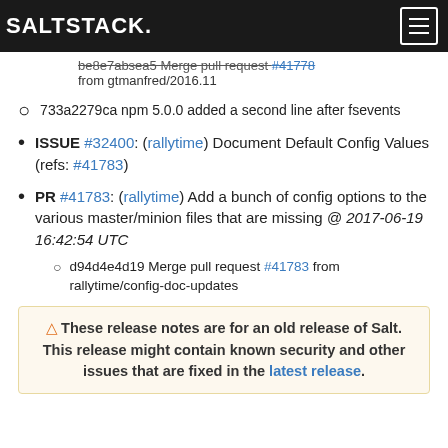SALTSTACK.
be8e7absea5 Merge pull request #41778 from gtmanfred/2016.11 (strikethrough)
733a2279ca npm 5.0.0 added a second line after fsevents
ISSUE #32400: (rallytime) Document Default Config Values (refs: #41783)
PR #41783: (rallytime) Add a bunch of config options to the various master/minion files that are missing @ 2017-06-19 16:42:54 UTC
d94d4e4d19 Merge pull request #41783 from rallytime/config-doc-updates
⚠ These release notes are for an old release of Salt. This release might contain known security and other issues that are fixed in the latest release.